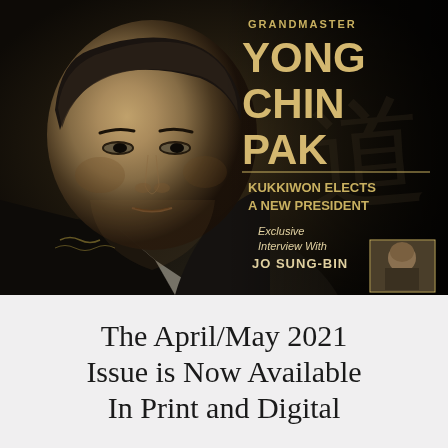[Figure (photo): Sepia-toned portrait photo of Grandmaster Yong Chin Pak in martial arts uniform with text overlay on right side reading: GRANDMASTER YONG CHIN PAK / KUKKIWON ELECTS A NEW PRESIDENT / Exclusive Interview With JO SUNG-BIN, with small inset photo of Jo Sung-Bin in lower right]
The April/May 2021 Issue is Now Available In Print and Digital